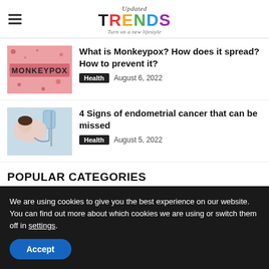Updated TRENDS – Turn on a new lifestyle
[Figure (photo): Pink background image with text MONKEYPOX in bold letters and scattered red/orange dots]
What is Monkeypox? How does it spread? How to prevent it?
Health  August 6, 2022
[Figure (photo): Woman lying down with medical IV drip equipment in background]
4 Signs of endometrial cancer that can be missed
Health  August 5, 2022
POPULAR CATEGORIES
We are using cookies to give you the best experience on our website.
You can find out more about which cookies we are using or switch them off in settings.
Accept